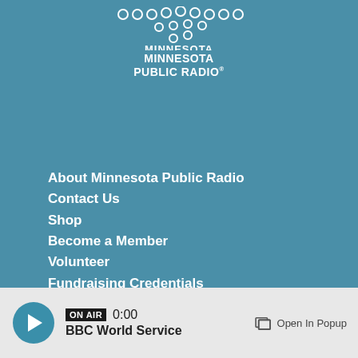[Figure (logo): Minnesota Public Radio logo with decorative dots above text]
About Minnesota Public Radio
Contact Us
Shop
Become a Member
Volunteer
Fundraising Credentials
Terms of use
Your privacy rights
Station outage information
ON AIR  0:00  BBC World Service  Open In Popup